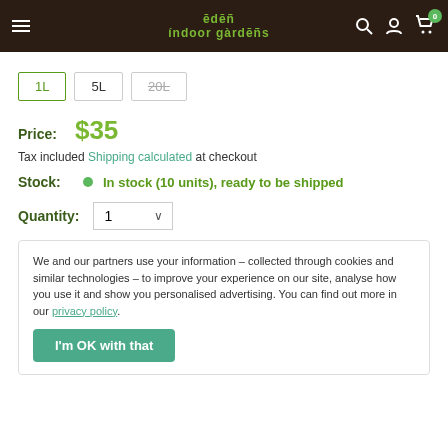Eden Indoor Gardens — navigation header with hamburger menu, logo, search, account, and cart (0 items)
1L (selected), 5L, 20L (strikethrough)
Price: $35
Tax included Shipping calculated at checkout
Stock: In stock (10 units), ready to be shipped
Quantity: 1
We and our partners use your information – collected through cookies and similar technologies – to improve your experience on our site, analyse how you use it and show you personalised advertising. You can find out more in our privacy policy.
I'm OK with that